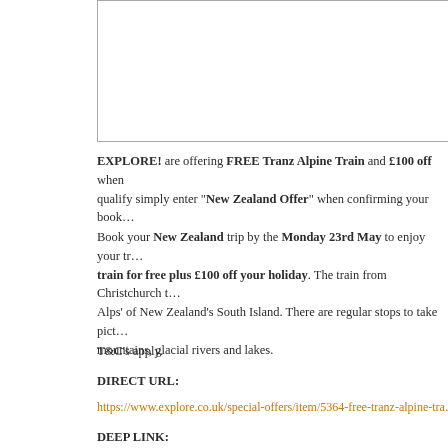[Figure (other): Empty white box with border, likely placeholder for an image]
EXPLORE! are offering FREE Tranz Alpine Train and £100 off when… qualify simply enter "New Zealand Offer" when confirming your book…
Book your New Zealand trip by the Monday 23rd May to enjoy your tr… train for free plus £100 off your holiday. The train from Christchurch t… Alps' of New Zealand's South Island. There are regular stops to take pict… mountains, glacial rivers and lakes.
T&C's apply.
DIRECT URL:
https://www.explore.co.uk/special-offers/item/5364-free-tranz-alpine-tra…
DEEP LINK: